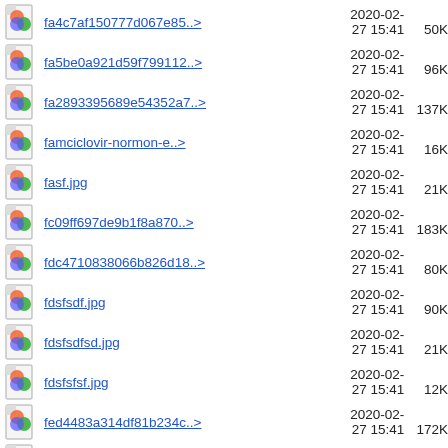fa4c7af150777d067e85..> 2020-02-27 15:41 50K
fa5be0a921d59f799112..> 2020-02-27 15:41 96K
fa2893395689e54352a7..> 2020-02-27 15:41 137K
famciclovir-normon-e..> 2020-02-27 15:41 16K
fasf.jpg 2020-02-27 15:41 21K
fc09ff697de9b1f8a870..> 2020-02-27 15:41 183K
fdc4710838066b826d18..> 2020-02-27 15:41 80K
fdsfsdf.jpg 2020-02-27 15:41 90K
fdsfsdfsd.jpg 2020-02-27 15:41 21K
fdsfsfsf.jpg 2020-02-27 15:41 12K
fed4483a314df81b234c..> 2020-02-27 15:41 172K
(partial row) 2020-02-